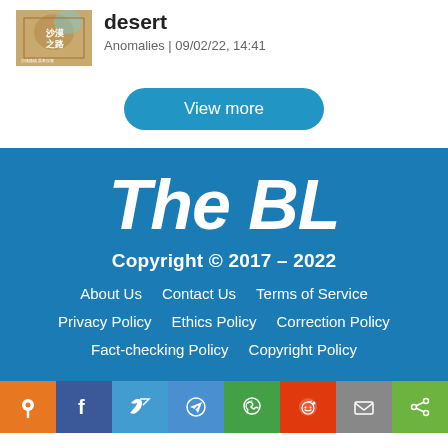[Figure (photo): Book cover with Chinese characters and desert imagery]
desert
Anomalies | 09/02/22, 14:41
View more
The BL
Copyright © 2017 – 2022
About Us
Contact Us
Terms of Service
Privacy Policy
Ethics Policy
Correction Policy
Fact-checking Policy
Copyright Policy
[Figure (infographic): Social share bar with icons: bookmark (orange), Facebook (blue), Twitter (blue), Telegram (blue), WhatsApp (green), Reddit (red), Email (grey), Share (green)]